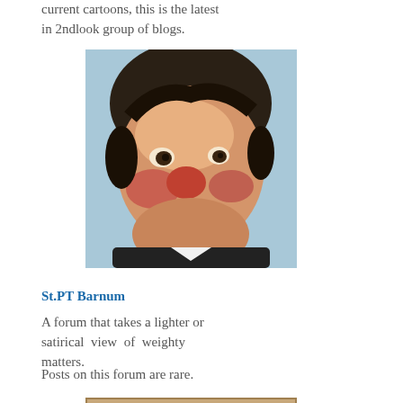current cartoons, this is the latest in 2ndlook group of blogs.
[Figure (illustration): Caricature portrait of a heavyset man with exaggerated features, curly dark hair, large red nose, wearing a dark jacket with white collar.]
St.PT Barnum
A forum that takes a lighter or satirical view of weighty matters.
Posts on this forum are rare.
[Figure (photo): Close-up photo of an ornate stone carving showing a central circular medallion with radiating spokes and decorative roundels at the tips, intricate relief work.]